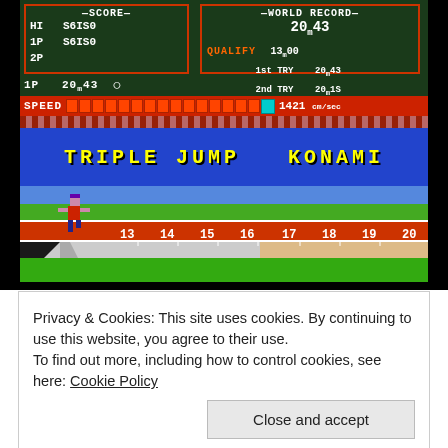[Figure (screenshot): Screenshot of a Konami Triple Jump arcade/NES video game. Shows a HUD with SCORE (HI: 86180, 1P: 86180, 2P blank), WORLD RECORD: 20m43, QUALIFY section (1st TRY: 20m43, 2nd TRY: 20m18, 3rd TRY blank), 1P current: 20m43, SPEED bar at 1421 cm/sec. Blue band reads 'TRIPLE JUMP  KONAMI'. Below is a pixel-art track with a running athlete and distance markers 13 through 20.]
Privacy & Cookies: This site uses cookies. By continuing to use this website, you agree to their use.
To find out more, including how to control cookies, see here: Cookie Policy
Close and accept
act of talking made me more confident for my